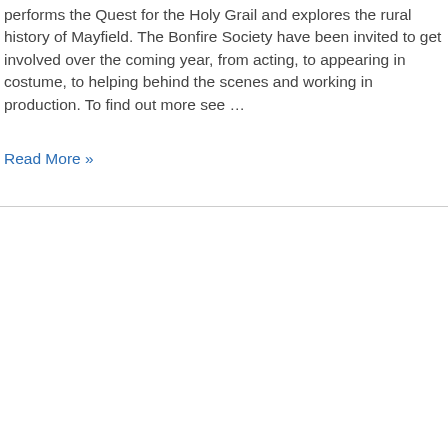performs the Quest for the Holy Grail and explores the rural history of Mayfield. The Bonfire Society have been invited to get involved over the coming year, from acting, to appearing in costume, to helping behind the scenes and working in production. To find out more see …
Read More »